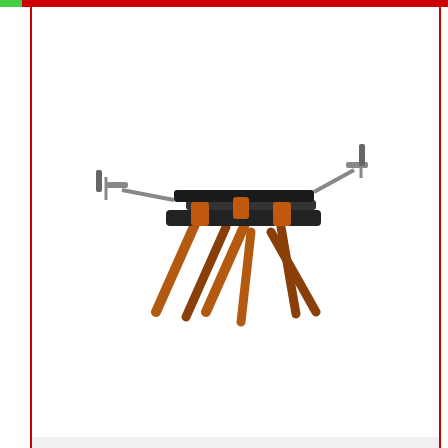[Figure (photo): BORA Portamate PM-4000 miter saw stand with orange wooden legs and metal arm extensions on a white background]
BORA Portamate PM-4000 - Heavy Duty...
$90.27
[Figure (logo): Amazon Prime logo with checkmark]
Sturdy-built despite lightweight